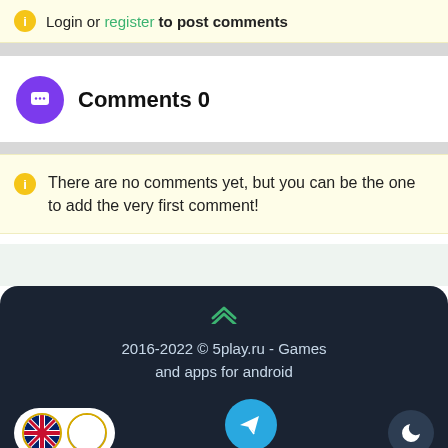Login or register to post comments
Comments 0
There are no comments yet, but you can be the one to add the very first comment!
2016-2022 © 5play.ru - Games and apps for android
OUR TELEGRAM